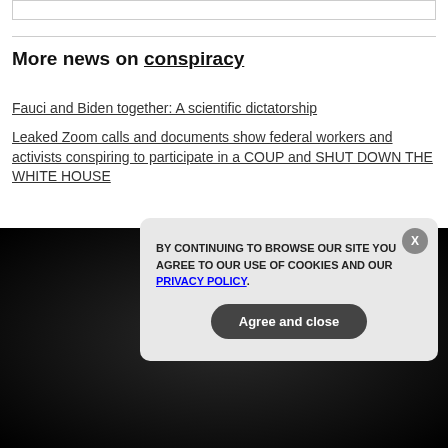More news on conspiracy
Fauci and Biden together: A scientific dictatorship
Leaked Zoom calls and documents show federal workers and activists conspiring to participate in a COUP and SHUT DOWN THE WHITE HOUSE
GET THE WORLD'S BEST NATURAL HEALTH NEWSLETTER DELIVERED STRAIGHT TO YOUR INBOX
BY CONTINUING TO BROWSE OUR SITE YOU AGREE TO OUR USE OF COOKIES AND OUR PRIVACY POLICY. Agree and close